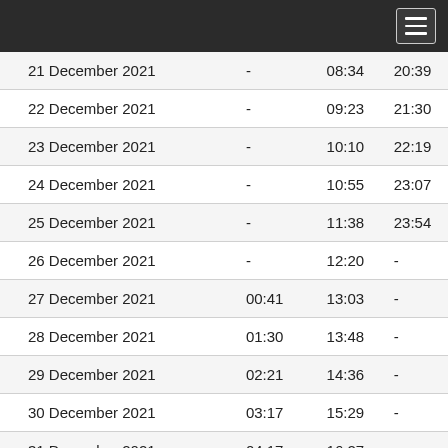Navigation menu header bar
| Date | Moonrise | Noon | Moonset |
| --- | --- | --- | --- |
| 21 December 2021 | - | 08:34 | 20:39 |
| 22 December 2021 | - | 09:23 | 21:30 |
| 23 December 2021 | - | 10:10 | 22:19 |
| 24 December 2021 | - | 10:55 | 23:07 |
| 25 December 2021 | - | 11:38 | 23:54 |
| 26 December 2021 | - | 12:20 | - |
| 27 December 2021 | 00:41 | 13:03 | - |
| 28 December 2021 | 01:30 | 13:48 | - |
| 29 December 2021 | 02:21 | 14:36 | - |
| 30 December 2021 | 03:17 | 15:29 | - |
| 31 December 2021 | 04:17 | 16:27 | - |